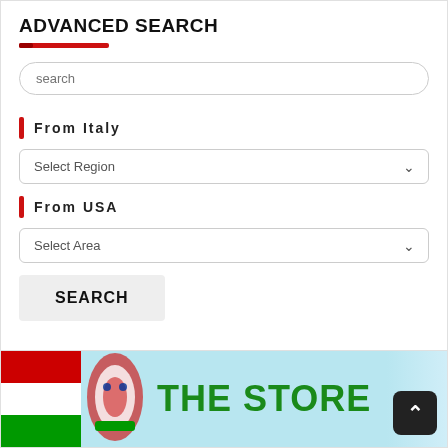ADVANCED SEARCH
search
From Italy
Select Region
From USA
Select Area
SEARCH
[Figure (screenshot): Banner showing THE STORE text with Italian/American flag motif on light blue background]